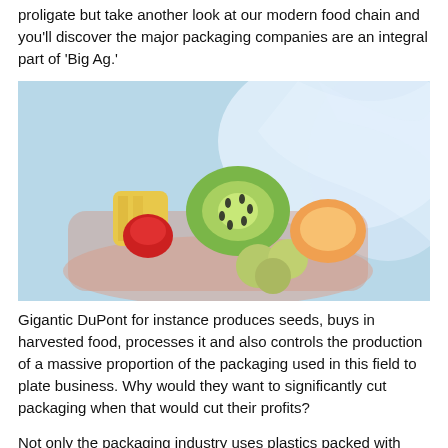proligate but take another look at our modern food chain and you'll discover the major packaging companies are an integral part of 'Big Ag.'
[Figure (photo): A clear plastic container filled with fresh fruit including kiwi, strawberries, grapes, pineapple, and melon, with plastic wrap being pulled open.]
Gigantic DuPont for instance produces seeds, buys in harvested food, processes it and also controls the production of a massive proportion of the packaging used in this field to plate business. Why would they want to significantly cut packaging when that would cut their profits?
Not only the packaging industry uses plastics packed with toxins well known to migrate from packs into food. They come in various categories like EDC's, endocrine-disrupting chemicals,